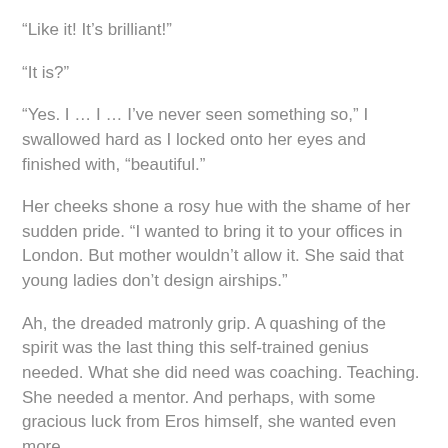“Like it! It’s brilliant!”
“It is?”
“Yes. I … I … I’ve never seen something so,” I swallowed hard as I locked onto her eyes and finished with, “beautiful.”
Her cheeks shone a rosy hue with the shame of her sudden pride. “I wanted to bring it to your offices in London. But mother wouldn’t allow it. She said that young ladies don’t design airships.”
Ah, the dreaded matronly grip. A quashing of the spirit was the last thing this self-trained genius needed. What she did need was coaching. Teaching. She needed a mentor. And perhaps, with some gracious luck from Eros himself, she wanted even more.
Drawing a deep breath, I admitted, “Your mother was right.”
Ms. Westbury opened her mouth to refute me, but I didn’t allow her the chance.